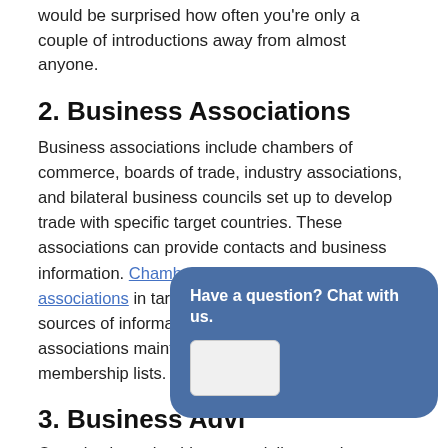would be surprised how often you're only a couple of introductions away from almost anyone.
2. Business Associations
Business associations include chambers of commerce, boards of trade, industry associations, and bilateral business councils set up to develop trade with specific target countries. These associations can provide contacts and business information. Chambers of commerce and industry associations in target countries are also good sources of information. In many countries, industry associations maintain industry statistics as well as membership lists.
3. Business Advi…
Organizations should con… specialists, such as lawye… for potential partners. Although this can add to the expense of market entry, business advisors can use…